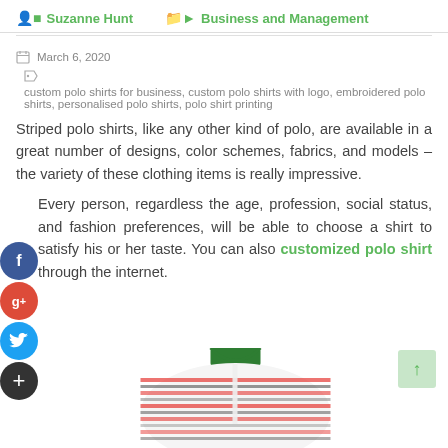Suzanne Hunt  Business and Management
March 6, 2020  custom polo shirts for business, custom polo shirts with logo, embroidered polo shirts, personalised polo shirts, polo shirt printing
Striped polo shirts, like any other kind of polo, are available in a great number of designs, color schemes, fabrics, and models – the variety of these clothing items is really impressive.
Every person, regardless the age, profession, social status, and fashion preferences, will be able to choose a shirt to satisfy his or her taste. You can also customized polo shirt through the internet.
[Figure (photo): A striped polo shirt with green collar, shown from the front upper half, white background with red, black and grey horizontal stripes.]